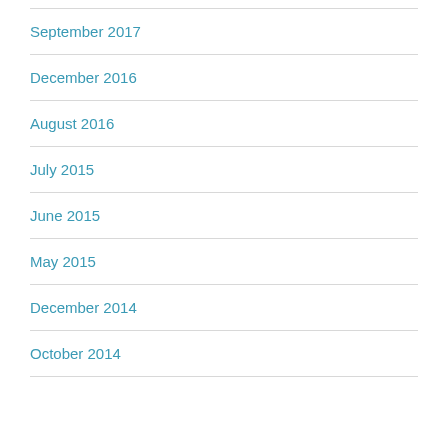September 2017
December 2016
August 2016
July 2015
June 2015
May 2015
December 2014
October 2014